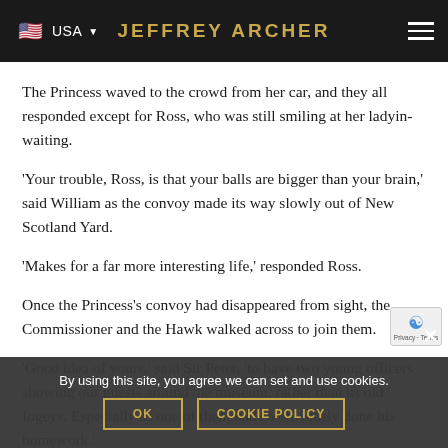USA  JEFFREY ARCHER
The Princess waved to the crowd from her car, and they all responded except for Ross, who was still smiling at her ladyin-waiting.
'Your trouble, Ross, is that your balls are bigger than your brain,' said William as the convoy made its way slowly out of New Scotland Yard.
'Makes for a far more interesting life,' responded Ross.
Once the Princess's convoy had disappeared from sight, the Commissioner and the Hawk walked across to join them.
'Good idea of yours,' said Sir Peter, 'to have two young officers showing our guests around the museum, rather than us old fogeys. Especially as one of them had so obviously done his homework.'
By using this site, you agree we can set and use cookies.